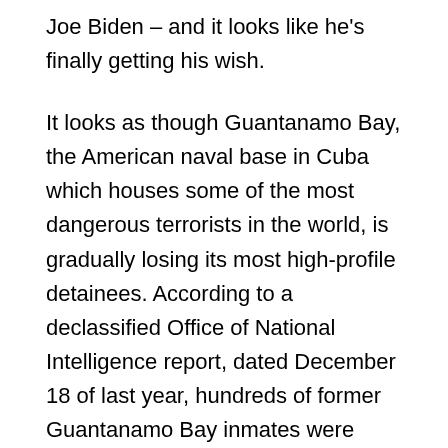Joe Biden – and it looks like he's finally getting his wish.
It looks as though Guantanamo Bay, the American naval base in Cuba which houses some of the most dangerous terrorists in the world, is gradually losing its most high-profile detainees. According to a declassified Office of National Intelligence report, dated December 18 of last year, hundreds of former Guantanamo Bay inmates were released in recent years, and 200 of those have returned to engaging in terrorist activities.
The report also shows how 151 of those